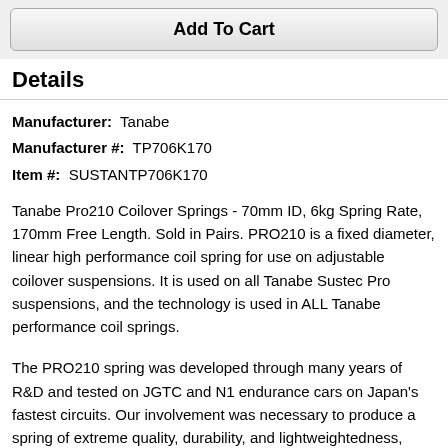[Figure (other): Add To Cart button — a large rounded rectangle button with gradient background]
Details
Manufacturer:  Tanabe
Manufacturer #:  TP706K170
Item #:  SUSTANTP706K170
Tanabe Pro210 Coilover Springs - 70mm ID, 6kg Spring Rate, 170mm Free Length. Sold in Pairs. PRO210 is a fixed diameter, linear high performance coil spring for use on adjustable coilover suspensions. It is used on all Tanabe Sustec Pro suspensions, and the technology is used in ALL Tanabe performance coil springs.
The PRO210 spring was developed through many years of R&D and tested on JGTC and N1 endurance cars on Japan's fastest circuits. Our involvement was necessary to produce a spring of extreme quality, durability, and lightweightedness, made to  exact specifications to meet the needs of circuit racing. Various materials were tested, and it was found that SWI200 steel alloy would prove to be the most durable if manufactured properly. Materials such as titanium were tested, but titanium had exhibited shortened durability and was also very expensive. Through a highly advanced manufacturing process, an amazing tensile strength of 2100nm was achieved using only SWI200 steel alloy. No other manufacturer has been able to reach this level of strength in a coil spring-- even those